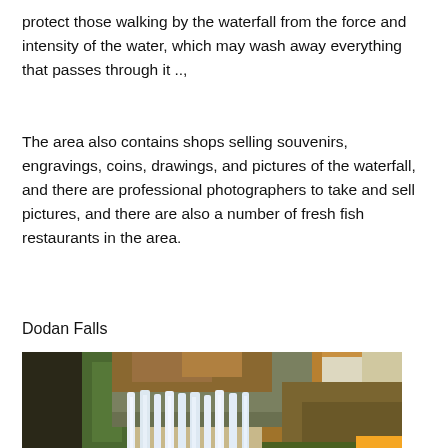protect those walking by the waterfall from the force and intensity of the water, which may wash away everything that passes through it ..,
The area also contains shops selling souvenirs, engravings, coins, drawings, and pictures of the waterfall, and there are professional photographers to take and sell pictures, and there are also a number of fresh fish restaurants in the area.
Dodan Falls
[Figure (photo): A wide waterfall with multiple cascades falling over a rocky ledge, surrounded by autumn trees with orange and golden foliage. The scene is lush and natural with greenery and rocks visible at the base.]